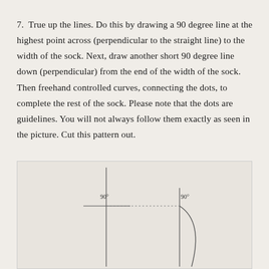7.  True up the lines. Do this by drawing a 90 degree line at the highest point across (perpendicular to the straight line) to the width of the sock. Next, draw another short 90 degree line down (perpendicular) from the end of the width of the sock. Then freehand controlled curves, connecting the dots, to complete the rest of the sock. Please note that the dots are guidelines. You will not always follow them exactly as seen in the picture. Cut this pattern out.
[Figure (photo): A hand-drawn diagram on beige paper showing two perpendicular 90-degree angle constructions. On the left, a vertical line with a horizontal line crossing it, labeled '90' at the top. On the right, another vertical line with a horizontal dotted line extending left from it, labeled '90°'. A curved line connects the two constructions sweeping down and to the right, illustrating how to draw the sock curve.]